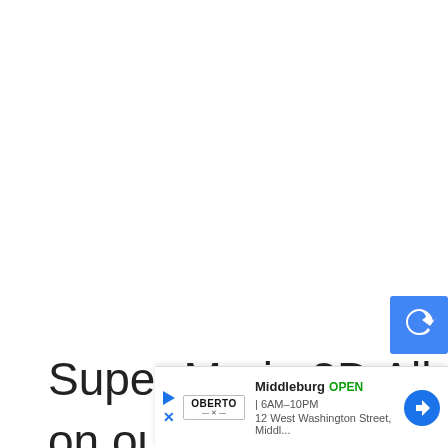Super Mario 3D All-Stars is our next choice on our list of the best Nintendo Switch games you can find. This g
[Figure (screenshot): reCAPTCHA badge partially visible at right edge]
[Figure (screenshot): Advertisement bar at bottom: Oberto brand, Middleburg location, OPEN 6AM-10PM, 12 West Washington Street, Middl...]